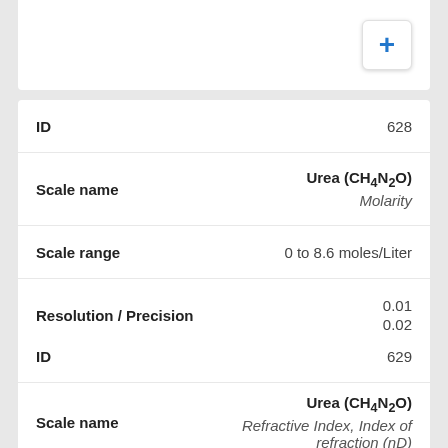| Field | Value |
| --- | --- |
| ID | 628 |
| Scale name | Urea (CH4N2O)
Molarity |
| Scale range | 0 to 8.6 moles/Liter |
| Resolution / Precision | 0.01
0.02 |
| Field | Value |
| --- | --- |
| ID | 629 |
| Scale name | Urea (CH4N2O)
Refractive Index, Index of refraction (nD) |